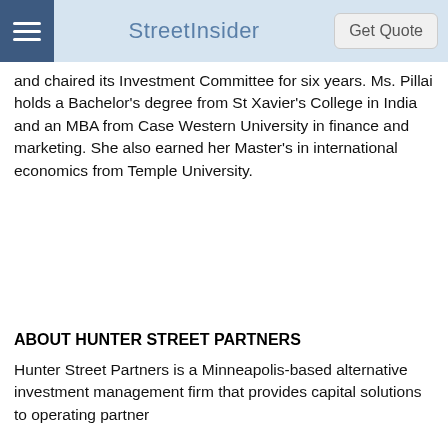StreetInsider
and chaired its Investment Committee for six years. Ms. Pillai holds a Bachelor's degree from St Xavier's College in India and an MBA from Case Western University in finance and marketing. She also earned her Master's in international economics from Temple University.
ABOUT HUNTER STREET PARTNERS
Hunter Street Partners is a Minneapolis-based alternative investment management firm that provides capital solutions to operating partner